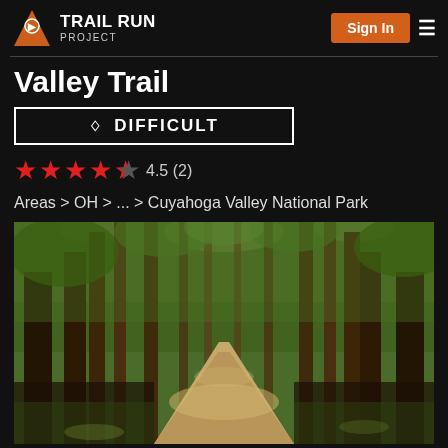Trail Run Project — Sign In
Valley Trail
DIFFICULT
4.5 (2)
Areas > OH > ... > Cuyahoga Valley National Park
[Figure (photo): Forest trail path through tall trees with sunlight filtering through the canopy]